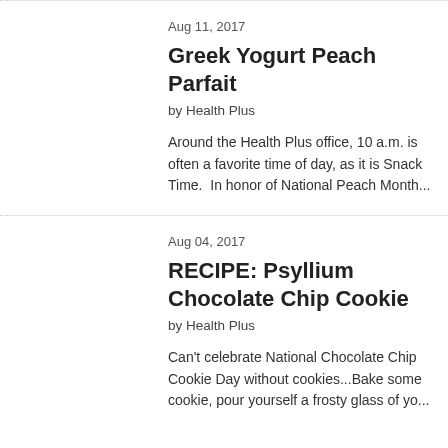Aug 11, 2017
Greek Yogurt Peach Parfait
by Health Plus
Around the Health Plus office, 10 a.m. is often a favorite time of day, as it is Snack Time.  In honor of National Peach Month...
Aug 04, 2017
RECIPE: Psyllium Chocolate Chip Cookie
by Health Plus
Can't celebrate National Chocolate Chip Cookie Day without cookies...Bake some cookie, pour yourself a frosty glass of yo...